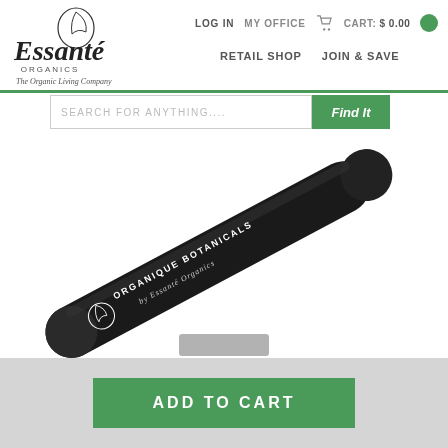[Figure (logo): Essante Organics logo with script text and tagline 'The Organic Living Company']
LOG IN   MY OFFICE   CART: $0.00
RETAIL SHOP   JOIN & SAVE
SEARCH FOR ANYTHING....
[Figure (photo): Black eyeliner pencil at diagonal angle with text 'ORGANIQUE BOTANICALS by Essante Organics' printed on it]
ADD TO CART